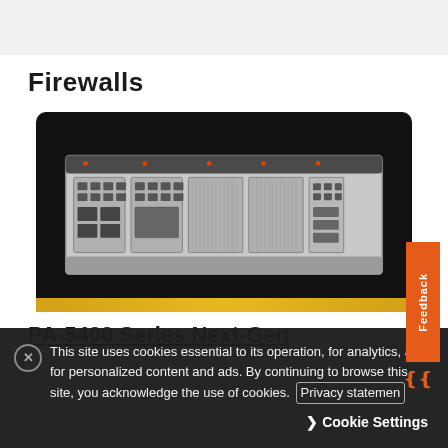Firewalls
[Figure (photo): PA-5400 Series Next-Generation Firewall hardware appliance — large rack-mount chassis with multiple blade modules, port panels, and ventilation grilles, photographed on black background with gold accent bar at bottom]
PA-5400 Series Next-Gen
This site uses cookies essential to its operation, for analytics, and for personalized content and ads. By continuing to browse this site, you acknowledge the use of cookies. Privacy statemen
Cookie Settings